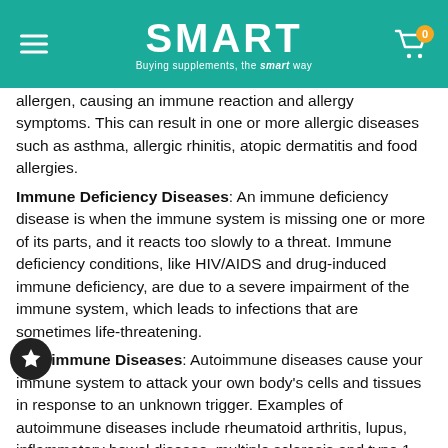SMART — Buying supplements, the smart way
allergen, causing an immune reaction and allergy symptoms. This can result in one or more allergic diseases such as asthma, allergic rhinitis, atopic dermatitis and food allergies.
Immune Deficiency Diseases: An immune deficiency disease is when the immune system is missing one or more of its parts, and it reacts too slowly to a threat. Immune deficiency conditions, like HIV/AIDS and drug-induced immune deficiency, are due to a severe impairment of the immune system, which leads to infections that are sometimes life-threatening.
Autoimmune Diseases: Autoimmune diseases cause your immune system to attack your own body's cells and tissues in response to an unknown trigger. Examples of autoimmune diseases include rheumatoid arthritis, lupus, inflammatory bowel disease, multiple sclerosis and type 1 diabetes.
Immune System Boosters
When searching for how to boost your immune system, look to